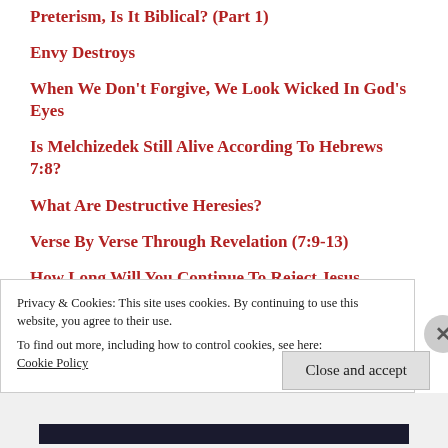Preterism, Is It Biblical? (Part 1)
Envy Destroys
When We Don't Forgive, We Look Wicked In God's Eyes
Is Melchizedek Still Alive According To Hebrews 7:8?
What Are Destructive Heresies?
Verse By Verse Through Revelation (7:9-13)
How Long Will You Continue To Reject Jesus Christ?
Privacy & Cookies: This site uses cookies. By continuing to use this website, you agree to their use.
To find out more, including how to control cookies, see here:
Cookie Policy
Close and accept